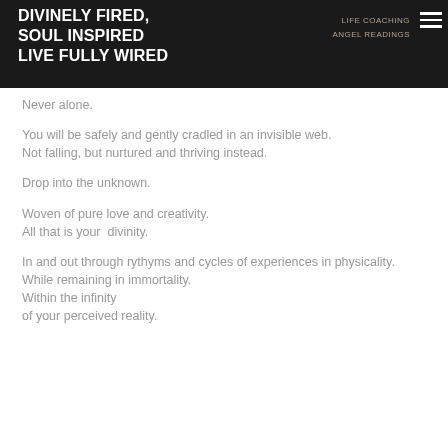DIVINELY FIRED,
SOUL INSPIRED
LIVE FULLY WIRED
Never alone.
You will be safely and gently cradled in an invisible web.
Not falling, but nurtured and thriving instead.
Drop into the unknown.
Woven of pure love and creativity.
All that is your  divinity.
In and out through rythyms and cycles of experiences in physicality.
While remaining in immortality.
Within the infinity
of your perceived reality.